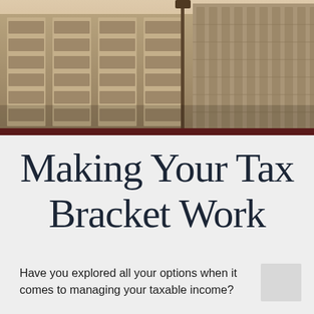[Figure (photo): Sepia-toned photograph of a large government or institutional building facade with tall windows, columns, and a street lamp in the foreground]
Making Your Tax Bracket Work
Have you explored all your options when it comes to managing your taxable income?